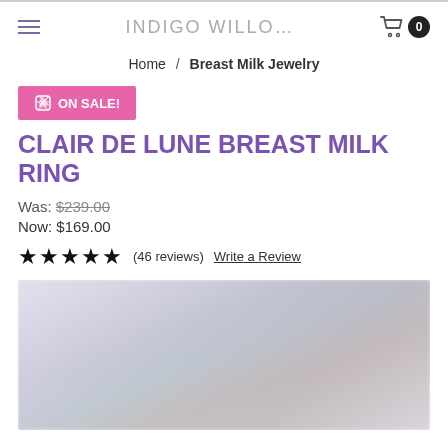INDIGO WILLO...
Home / Breast Milk Jewelry
ON SALE!
CLAIR DE LUNE BREAST MILK RING
Was: $239.00
Now: $169.00
★★★★★ (46 reviews) Write a Review
[Figure (photo): Blurred close-up product photo of a breast milk ring on a light pastel background with soft focus]